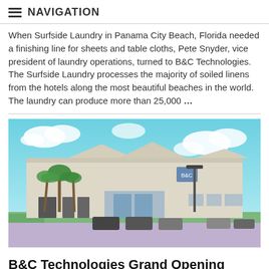NAVIGATION
When Surfside Laundry in Panama City Beach, Florida needed a finishing line for sheets and table cloths, Pete Snyder, vice president of laundry operations, turned to B&C Technologies. The Surfside Laundry processes the majority of soiled linens from the hotels along the most beautiful beaches in the world.  The laundry can produce more than 25,000 …
[Figure (photo): Exterior photo of a large commercial building with palm trees in the foreground, blue sky with clouds in background, parking lot visible]
B&C Technologies Grand Opening
August 24, 2018  in  Featured, Industry News, Quick Rinse, Supplier